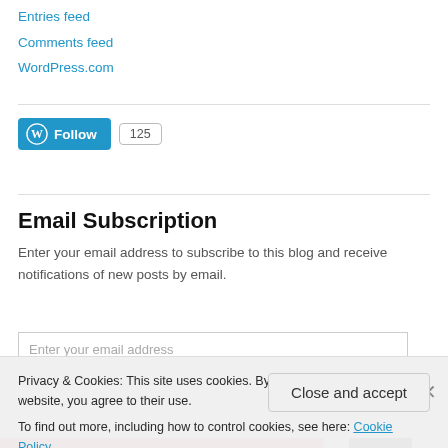Entries feed
Comments feed
WordPress.com
[Figure (other): WordPress Follow button with '125' follower count badge]
Email Subscription
Enter your email address to subscribe to this blog and receive notifications of new posts by email.
Privacy & Cookies: This site uses cookies. By continuing to use this website, you agree to their use.
To find out more, including how to control cookies, see here: Cookie Policy